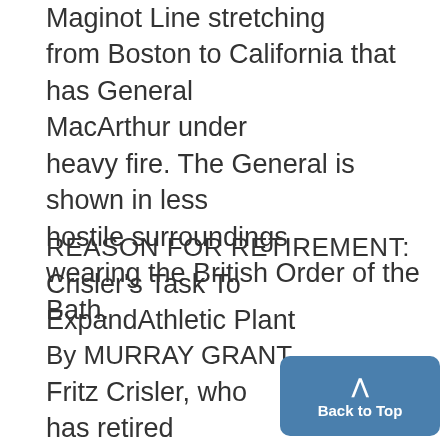Maginot Line stretching from Boston to California that has General MacArthur under heavy fire. The General is shown in less hostile surroundings wearing the British Order of the Bath.
REASON FOR RETIREMENT:
Crisler's Task To ExpandAthletic Plant
By MURRAY GRANT
Fritz Crisler, who has retired from the coaching ranks after having built up one of the mos